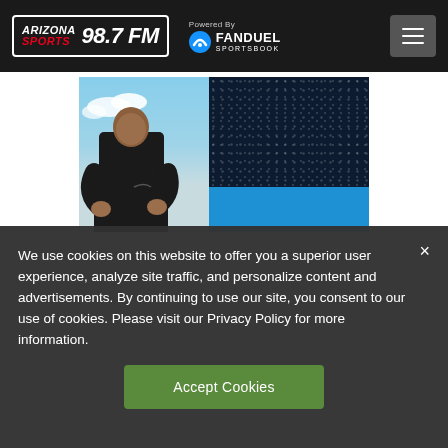Arizona Sports 98.7 FM — Powered By FanDuel Sportsbook
[Figure (photo): Promotional banner image showing a male athlete in a black Nike long-sleeve shirt seated outdoors with a blue sky background on the left, and a dark navy blue background with light dot pattern and a bright blue stripe at the bottom on the right.]
We use cookies on this website to offer you a superior user experience, analyze site traffic, and personalize content and advertisements. By continuing to use our site, you consent to our use of cookies. Please visit our Privacy Policy for more information.
Accept Cookies